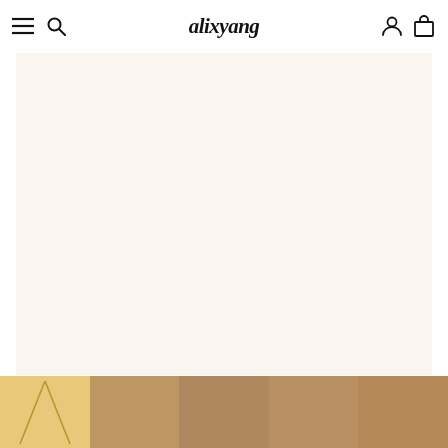alixyang — navigation bar with menu, search, account, and cart icons
[Figure (photo): Large cream/off-white product display area — main jewelry product image placeholder with warm beige background]
[Figure (photo): Thumbnail strip showing 5 small product images of gold necklaces worn by models]